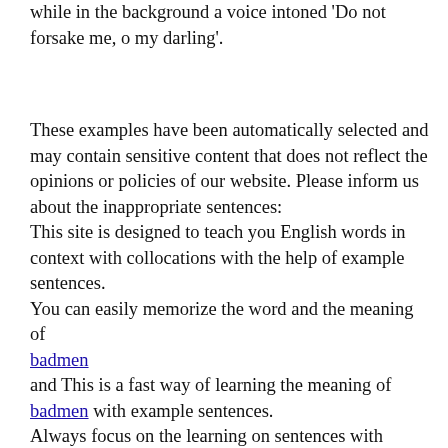while in the background a voice intoned 'Do not forsake me, o my darling'.
These examples have been automatically selected and may contain sensitive content that does not reflect the opinions or policies of our website. Please inform us about the inappropriate sentences:
This site is designed to teach you English words in context with collocations with the help of example sentences.
You can easily memorize the word and the meaning of badmen
and This is a fast way of learning the meaning of badmen with example sentences.
Always focus on the learning on sentences with badmen
We believe you will easily learn to write and use the word badmen in a sentence.